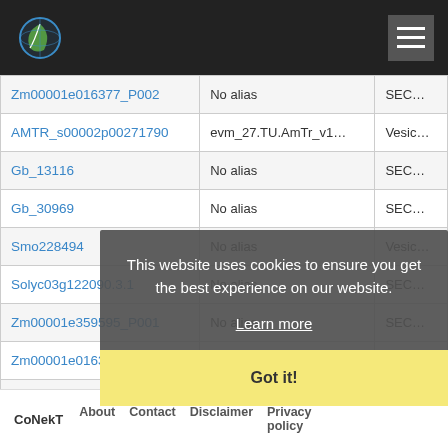CoNekT website header with logo and navigation menu
| Gene ID | Alias | Species |
| --- | --- | --- |
| Zm00001e016377_P002 | No alias | SEC… |
| AMTR_s00002p00271790 | evm_27.TU.AmTr_v1… | Vesic… |
| Gb_13116 | No alias | SEC… |
| Gb_30969 | No alias | SEC… |
| Smo228494 | No alias | Vesic… |
| Solyc03g122090.3.1 | No alias | SEC… |
| Zm00001e359595_P001 | No alias | SEC… |
| Zm00001e016377_P002 | No alias | SEC… |
| Gb_13116 | No alias | SEC… |
| Gb_30969 | No alias | SEC… |
This website uses cookies to ensure you get the best experience on our website. Learn more Got it!
CoNekT   About   Contact   Disclaimer   Privacy policy